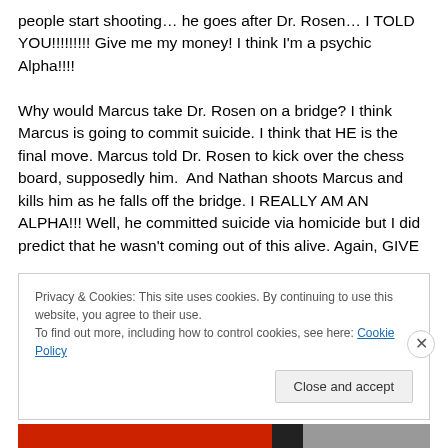people start shooting… he goes after Dr. Rosen… I TOLD YOU!!!!!!!!! Give me my money! I think I'm a psychic Alpha!!!!

Why would Marcus take Dr. Rosen on a bridge? I think Marcus is going to commit suicide. I think that HE is the final move. Marcus told Dr. Rosen to kick over the chess board, supposedly him.  And Nathan shoots Marcus and kills him as he falls off the bridge. I REALLY AM AN ALPHA!!! Well, he committed suicide via homicide but I did predict that he wasn't coming out of this alive. Again, GIVE
Privacy & Cookies: This site uses cookies. By continuing to use this website, you agree to their use.
To find out more, including how to control cookies, see here: Cookie Policy